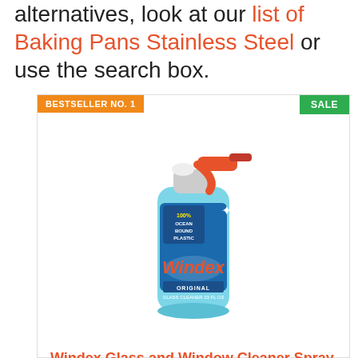alternatives, look at our list of Baking Pans Stainless Steel or use the search box.
BESTSELLER NO. 1
SALE
[Figure (photo): Windex Original Glass Cleaner 23 fl oz spray bottle with red trigger, blue bottle body, label reading 100% Ocean Bound Plastic]
Windex Glass and Window Cleaner Spray Bottle,...